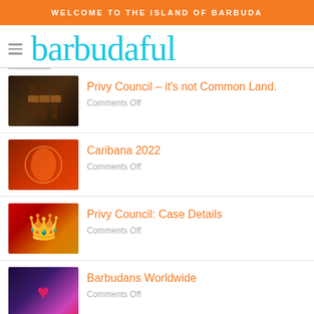WELCOME TO THE ISLAND OF BARBUDA
barbudaful
Privy Council – it's not Common Land. | Comments Off
Caribana 2022 | Comments Off
Privy Council: Case Details | Comments Off
Barbudans Worldwide | Comments Off
Barbuda gets star treatment. | Comments Off